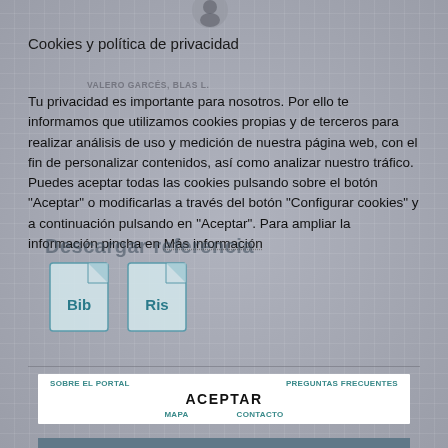[Figure (illustration): User avatar icon (silhouette of a person in a grey circle) at the top center of the page]
Cookies y política de privacidad
VALERO GARCÉS, BLAS L.
Tu privacidad es importante para nosotros. Por ello te informamos que utilizamos cookies propias y de terceros para realizar análisis de uso y medición de nuestra página web, con el fin de personalizar contenidos, así como analizar nuestro tráfico. Puedes aceptar todas las cookies pulsando sobre el botón "Aceptar" o modificarlas a través del botón "Configurar cookies" y a continuación pulsando en "Aceptar". Para ampliar la información pincha en Más información
[Figure (illustration): Overlay showing 'Descargar referencia' text with two file icons labeled 'Bib' and 'Ris']
Más información
SOBRE EL PORTAL    PREGUNTAS FRECUENTES
ACEPTAR
MAPA    CONTACTO
CONFIGURAR COOKIES
Universidad de Cantabria
Avda. de los Castros, s/n - 39005 Santander
servicios.web@unican.es